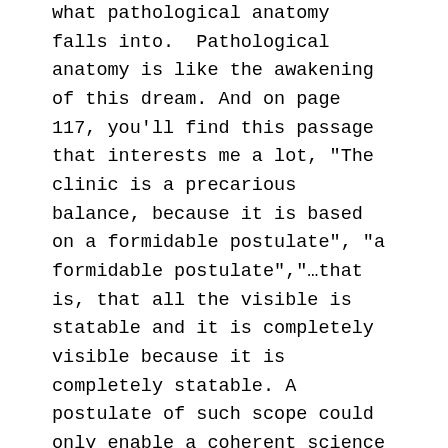what pathological anatomy falls into. Pathological anatomy is like the awakening of this dream. And on page 117, you'll find this passage that interests me a lot, "The clinic is a precarious balance, because it is based on a formidable postulate", "a formidable postulate","...that is, that all the visible is statable and it is completely visible because it is completely statable. A postulate of such scope could only enable a coherent science if it was developed into a logic that was the rigorous continuation of it. However, the logical framework of clinical thought is not absolutely coherent with this postulate and reversibility without any vestige of the visible in the statable confines the clinic to a requirement and a limit as opposed to an original principle. The total describability is a present and distant horizon, it is the dream of a thought, much more than a basic conceptual structure. It cannot be said any better at the level of a